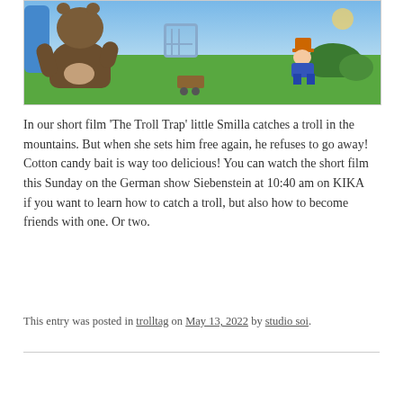[Figure (illustration): Animation still from 'The Troll Trap' showing a large brown bear/troll character sitting on green ground, a cage nearby, and a small girl character to the right with bushes in the background. Blue sky above.]
In our short film ‘The Troll Trap’ little Smilla catches a troll in the mountains. But when she sets him free again, he refuses to go away! Cotton candy bait is way too delicious! You can watch the short film this Sunday on the German show Siebenstein at 10:40 am on KIKA if you want to learn how to catch a troll, but also how to become friends with one. Or two.
This entry was posted in trolltag on May 13, 2022 by studio soi.